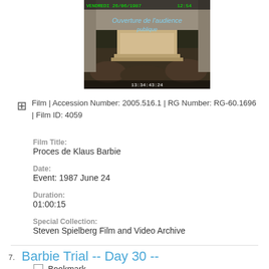[Figure (screenshot): Video still from trial footage showing courtroom with text overlay 'Ouverture de l'audience publique' and timestamp 13:34:43:24]
Film | Accession Number: 2005.516.1 | RG Number: RG-60.1696 | Film ID: 4059
Film Title:
Proces de Klaus Barbie
Date:
Event: 1987 June 24
Duration:
01:00:15
Special Collection:
Steven Spielberg Film and Video Archive
Barbie Trial -- Day 30 --
Bookmark